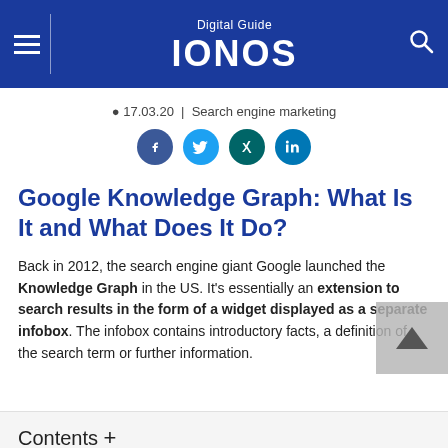Digital Guide IONOS
17.03.20 | Search engine marketing
[Figure (infographic): Social share icons: Facebook, Twitter, Xing, LinkedIn]
Google Knowledge Graph: What Is It and What Does It Do?
Back in 2012, the search engine giant Google launched the Knowledge Graph in the US. It's essentially an extension to search results in the form of a widget displayed as a separate infobox. The infobox contains introductory facts, a definition of the search term or further information.
Contents +